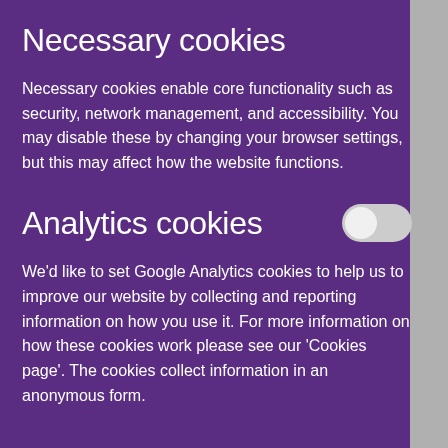Necessary cookies
Necessary cookies enable core functionality such as security, network management, and accessibility. You may disable these by changing your browser settings, but this may affect how the website functions.
Analytics cookies
[Figure (infographic): Toggle switch in off position (grey)]
We'd like to set Google Analytics cookies to help us to improve our website by collecting and reporting information on how you use it. For more information on how these cookies work please see our 'Cookies page'. The cookies collect information in an anonymous form.